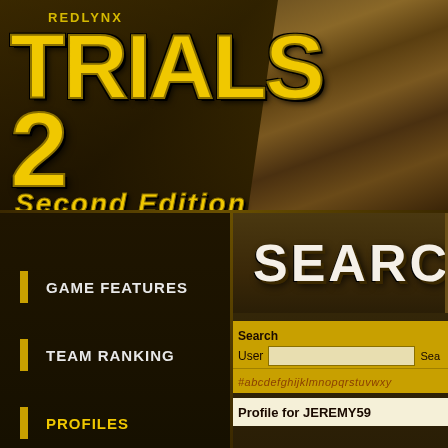[Figure (screenshot): RedLynx Trials 2 Second Edition game logo with yellow grunge text on dark brown background with industrial warehouse backdrop]
REDLYNX
TRIALS 2
Second Edition
GAME FEATURES
[Figure (screenshot): Search Players panel header showing 'SEARCH PLA' in large white Impact font on dark wood-textured background]
TEAM RANKING
PROFILES
Search
User	Sea
#abcdefghijklmnopqrstuvwxy
Profile for JEREMY59